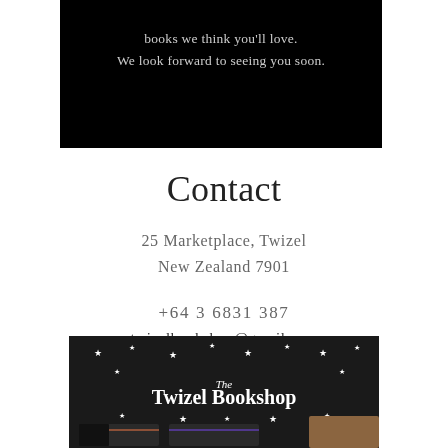books we think you'll love.
We look forward to seeing you soon.
Contact
25 Marketplace, Twizel
New Zealand 7901
+64 3 6831 387
twizelbookshop@gmail.com
[Figure (illustration): Illustrated storefront of The Twizel Bookshop with dark background, white stars, shop name in white text, and colorful book displays in windows below]